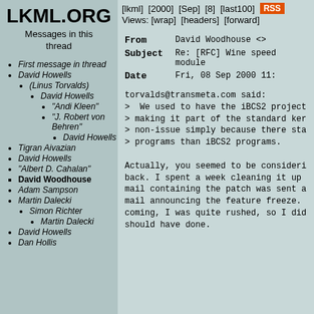LKML.ORG
Messages in this thread
First message in thread
David Howells
(Linus Torvalds)
David Howells
"Andi Kleen"
"J. Robert von Behren"
David Howells
Tigran Aivazian
David Howells
"Albert D. Cahalan"
David Woodhouse
Adam Sampson
Martin Dalecki
Simon Richter
Martin Dalecki
David Howells
Dan Hollis
[lkml] [2000] [Sep] [8] [last100] RSS Views: [wrap] [headers] [forward]
From	David Woodhouse <>
Subject	Re: [RFC] Wine speed module
Date	Fri, 08 Sep 2000 11:
torvalds@transmeta.com said:
>  We used to have the iBCS2 project
> making it part of the standard ker
> non-issue simply because there sta
> programs than iBCS2 programs.

Actually, you seemed to be consideri
back. I spent a week cleaning it up
mail containing the patch was sent a
mail announcing the feature freeze.
coming, I was quite rushed, so I did
should have done.